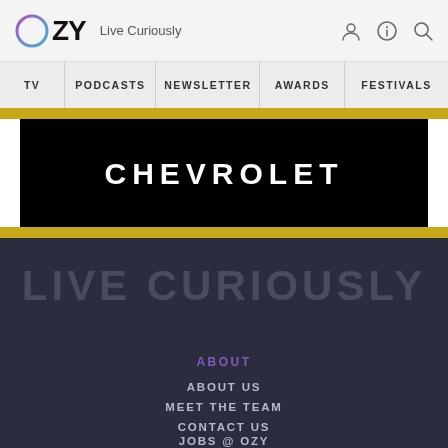OZY — Live Curiously
TV | PODCASTS | NEWSLETTER | AWARDS | FESTIVALS
[Figure (logo): Chevrolet advertisement banner: black background with CHEVROLET text in white, bordered by gold/yellow stripe top and bottom]
LIVE CURIOUSLY
ABOUT
ABOUT US
MEET THE TEAM
CONTACT US
JOBS @ OZY